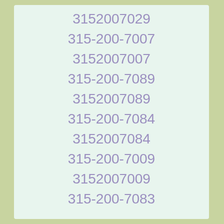3152007029
315-200-7007
3152007007
315-200-7089
3152007089
315-200-7084
3152007084
315-200-7009
3152007009
315-200-7083